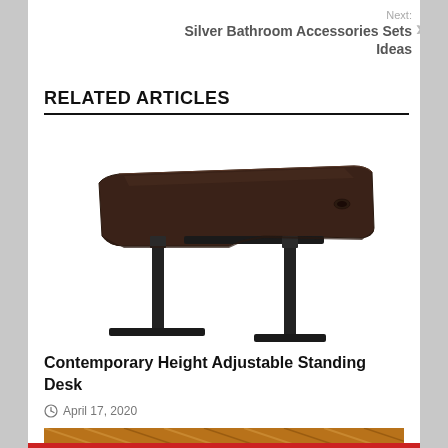Next: Silver Bathroom Accessories Sets Ideas
RELATED ARTICLES
[Figure (photo): Contemporary height adjustable standing desk with dark walnut top surface and black metal T-shaped legs, photographed on white background]
Contemporary Height Adjustable Standing Desk
April 17, 2020
[Figure (photo): Partial view of wooden furniture with diagonal wood planks, bottom of page]